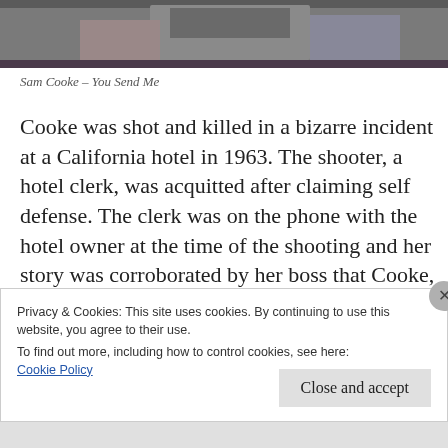[Figure (screenshot): Partial screenshot of a video or image showing a person in a suit at what appears to be a desk or podium, cropped mostly to background]
Sam Cooke – You Send Me
Cooke was shot and killed in a bizarre incident at a California hotel in 1963. The shooter, a hotel clerk, was acquitted after claiming self defense. The clerk was on the phone with the hotel owner at the time of the shooting and her story was corroborated by her boss that Cooke, intoxicated and naked, had attacked her
Privacy & Cookies: This site uses cookies. By continuing to use this website, you agree to their use.
To find out more, including how to control cookies, see here:
Cookie Policy
Close and accept